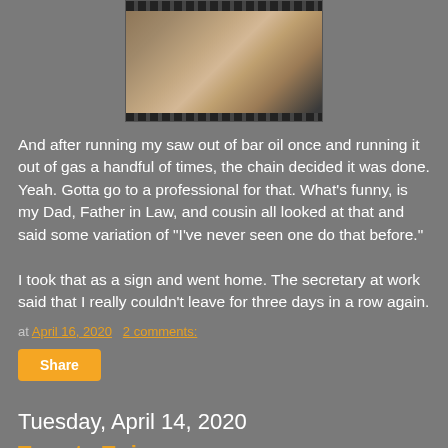[Figure (photo): A close-up photo of a chainsaw bar and chain on what appears to be a wooden surface. The chain is visible at the top and bottom edges of the bar.]
And after running my saw out of bar oil once and running it out of gas a handful of times, the chain decided it was done. Yeah. Gotta go to a professional for that. What's funny, is my Dad, Father in Law, and cousin all looked at that and said some variation of "I've never seen one do that before."
I took that as a sign and went home. The secretary at work said that I really couldn't leave for three days in a row again.
at April 16, 2020    2 comments:
Share
Tuesday, April 14, 2020